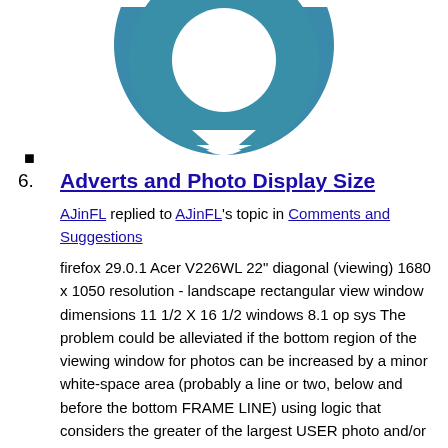[Figure (logo): Teal/blue donut-shaped ring logo (circular ring with notch at bottom), partial view at top of page]
6. Adverts and Photo Display Size
AJinFL replied to AJinFL's topic in Comments and Suggestions
firefox 29.0.1 Acer V226WL 22" diagonal (viewing) 1680 x 1050 resolution - landscape rectangular view window dimensions 11 1/2 X 16 1/2 windows 8.1 op sys The problem could be alleviated if the bottom region of the viewing window for photos can be increased by a minor white-space area (probably a line or two, below and before the bottom FRAME LINE) using logic that considers the greater of the largest USER photo and/or the inserted advert graphic situated in the bottom region. I see where the BACK and FORWARD arrows can now be hidden by either of the PHOTO or the ADVERT, depending upon the size of either of the two that are situated. Another way to handle the